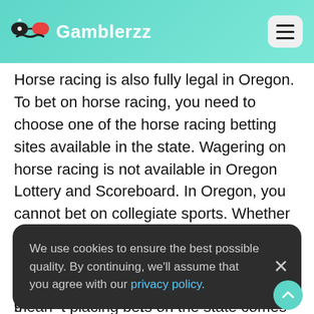Gamblerzz
Horse racing is also fully legal in Oregon. To bet on horse racing, you need to choose one of the horse racing betting sites available in the state. Wagering on horse racing is not available in Oregon Lottery and Scoreboard. In Oregon, you cannot bet on collegiate sports. Whether local or international, college sporting events are off-limits to bettors in the state. Apart from that, wagering on virtual games and online poker sites have not been legalized in the state as of today.
We use cookies to ensure the best possible quality. By continuing, we'll assume that you agree with our privacy policy.
to legalization in this state. But it does not mean that placing bets on the state comes to an end. Many of the top-rated US-based online BTB...